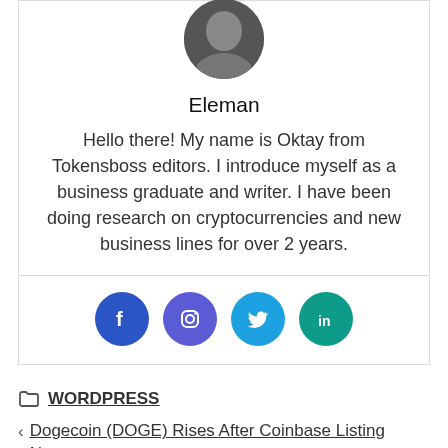[Figure (photo): Circular profile photo of author partially visible at top]
Eleman
Hello there! My name is Oktay from Tokensboss editors. I introduce myself as a business graduate and writer. I have been doing research on cryptocurrencies and new business lines for over 2 years.
[Figure (infographic): Four social media icons: Facebook (dark blue), Instagram (purple), Twitter (light blue), LinkedIn (teal)]
WORDPRESS
Dogecoin (DOGE) Rises After Coinbase Listing News
Binance Based Indonesia Based